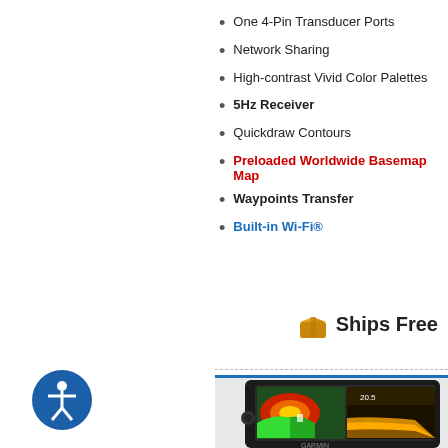One 4-Pin Transducer Ports
Network Sharing
High-contrast Vivid Color Palettes
5Hz Receiver
Quickdraw Contours
Preloaded Worldwide Basemap Map
Waypoints Transfer
Built-in Wi-Fi®
[Figure (infographic): Ships Free badge with box icon]
[Figure (photo): Garmin fish finder device showing chartplotter and sonar display screens]